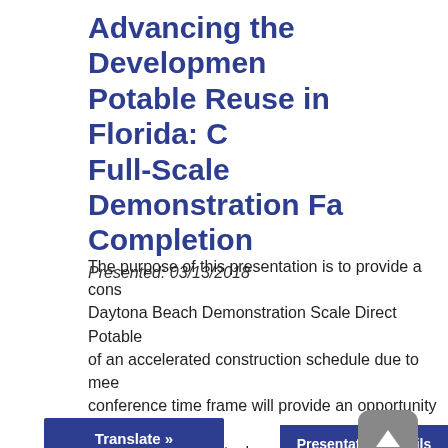Advancing the Development of Potable Reuse in Florida: Construction of Full-Scale Demonstration Facility Completion
Presented: 03/13/2018
The purpose of this presentation is to provide a construction update on the Daytona Beach Demonstration Scale Direct Potable Reuse Facility because of an accelerated construction schedule due to meeting the FWRJ conference time frame will provide an opportunity to discuss the successes and obstacles overcome dur...
Presentation Details
Translate »